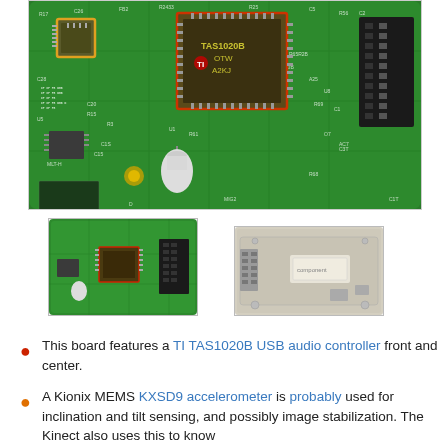[Figure (photo): Close-up photo of a green circuit board (PCB) with a TAS1020B USB audio controller chip highlighted in an orange/red rectangle in the center, and another chip highlighted in an orange rectangle on the left. The board has various components, connectors, and a white cylindrical component.]
[Figure (photo): Thumbnail photo of a small green circuit board with a chip highlighted by a red rectangle and a black connector strip on the right.]
[Figure (photo): Thumbnail photo of a small beige/cream circuit board with a connector on the left side.]
This board features a TI TAS1020B USB audio controller front and center.
A Kionix MEMS KXSD9 accelerometer is probably used for inclination and tilt sensing, and possibly image stabilization. The Kinect also uses this to know